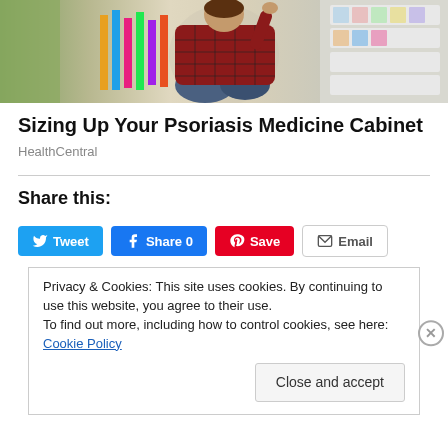[Figure (photo): A woman in a red plaid shirt crouching and browsing products in a pharmacy or store aisle]
Sizing Up Your Psoriasis Medicine Cabinet
HealthCentral
Share this:
Tweet   Share 0   Save   Email
Privacy & Cookies: This site uses cookies. By continuing to use this website, you agree to their use.
To find out more, including how to control cookies, see here: Cookie Policy
Close and accept